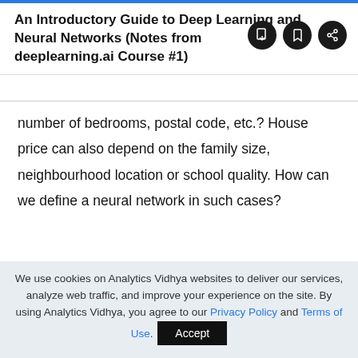An Introductory Guide to Deep Learning and Neural Networks (Notes from deeplearning.ai Course #1)
number of bedrooms, postal code, etc.? House price can also depend on the family size, neighbourhood location or school quality. How can we define a neural network in such cases?
[Figure (other): Handwritten diagram showing 'Size' and '#bedrooms' as inputs with arrows pointing to a circle (neuron), with 'family size' as output arrow from the neuron.]
We use cookies on Analytics Vidhya websites to deliver our services, analyze web traffic, and improve your experience on the site. By using Analytics Vidhya, you agree to our Privacy Policy and Terms of Use.